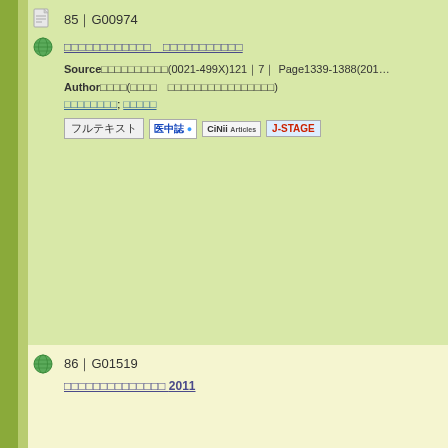85｜G00974 [title in Japanese] Source｜[journal](0021-499X)121｜7｜ Page1339-1388(201...) Author｜[name]([affiliation]) [links]
86｜G01519 [title in Japanese] 2011 [date]2011 Author｜[names] [link]
87｜G00912 [title in Japanese](｜2｜) Source｜[journal](0029-0203)114｜10｜ Page829-870(2010...) Author｜[names] [links]